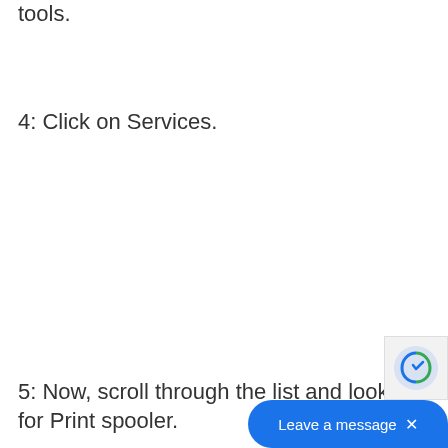3: ...you need to click on Administrative tools.
4: Click on Services.
5: Now, scroll through the list and look for Print spooler.